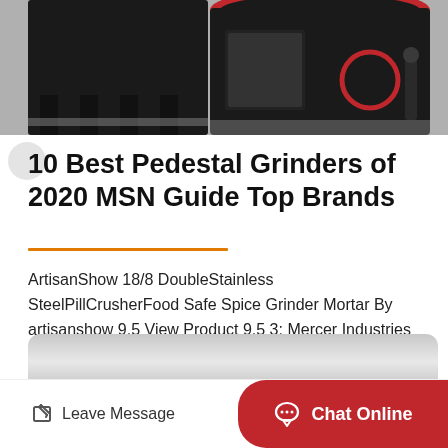[Figure (photo): Industrial grinding machine — large black metal pedestal grinder/crusher with red accent ring at top, industrial floor setting]
10 Best Pedestal Grinders of 2020 MSN Guide Top Brands
ArtisanShow 18/8 DoubleStainless SteelPillCrusherFood Safe Spice Grinder Mortar By artisanshow 9.5 View Product 9.5 3: Mercer Industries 183020 Crimped Wire Wheel, 8" x 3/4" x 2"…
[Figure (illustration): Small cartoon rocket icon with white body and orange flame]
Leave Message
Chat Online